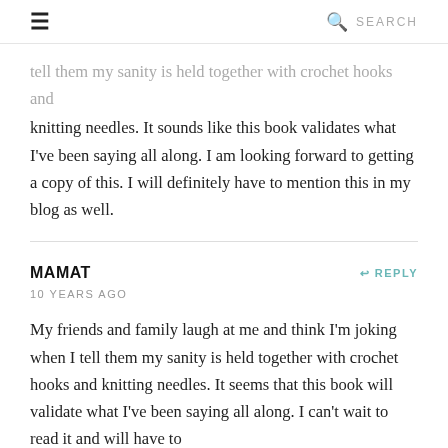≡  🔍 SEARCH
tell them my sanity is held together with crochet hooks and knitting needles. It sounds like this book validates what I've been saying all along. I am looking forward to getting a copy of this. I will definitely have to mention this in my blog as well.
MAMAT  ↩ REPLY
10 YEARS AGO
My friends and family laugh at me and think I'm joking when I tell them my sanity is held together with crochet hooks and knitting needles. It seems that this book will validate what I've been saying all along. I can't wait to read it and will have to
mention this on my blog as well. Thanks for the inspiration :)